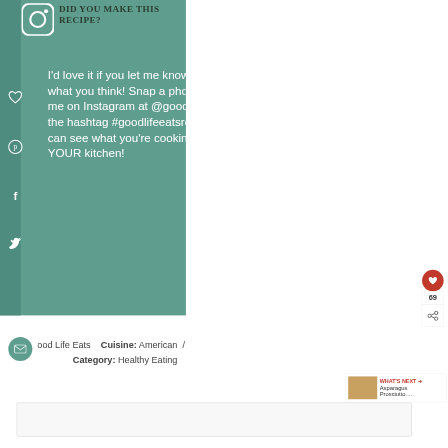[Figure (logo): Instagram logo icon in white on teal background]
DID YOU MAKE THIS RECIPE?
I'd love it if you let me know what you think! Snap a photo and tag me on Instagram at @goodlifeeats with the hashtag #goodlifeeatsrecipes so I can see what you're cooking up in YOUR kitchen!
Good Life Eats   Cuisine: American  /  Category: Healthy Eating
[Figure (infographic): Social media share buttons: heart (69 likes) and share icon on right side]
[Figure (photo): Asparagus Prosciutto dish thumbnail with WHAT'S NEXT label]
Asparagus Prosciutto....